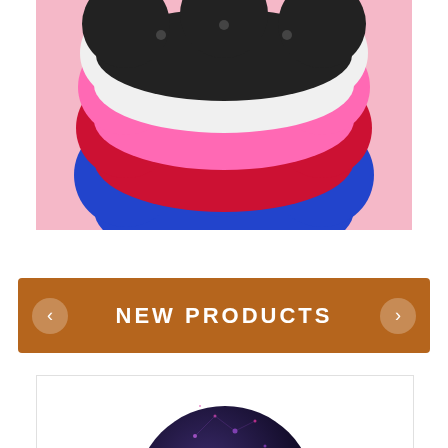[Figure (photo): A stack of SISU brand mouthguards in various colors (black, white, pink, red/dark pink, blue) shaped like cloud/flower forms with holes, arranged in a fan pattern against a pink background.]
NEW PRODUCTS
[Figure (photo): A dark navy/purple bowling ball with star/constellation pattern in purple and red hues, partially visible at the bottom of the page.]